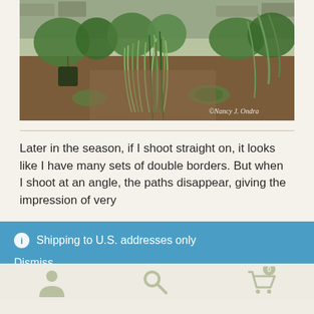[Figure (photo): Garden photo showing ornamental grasses and plants in a dirt border garden with stone edging in background. Copyright watermark reads: ©Nancy J. Ondra]
Later in the season, if I shoot straight on, it looks like I have many sets of double borders. But when I shoot at an angle, the paths disappear, giving the impression of very
ⓘ Shipping to U.S. addresses only
Dismiss
[Figure (infographic): Bottom navigation bar with three icons: person/user icon, search magnifying glass icon, and shopping cart icon with '0' badge]